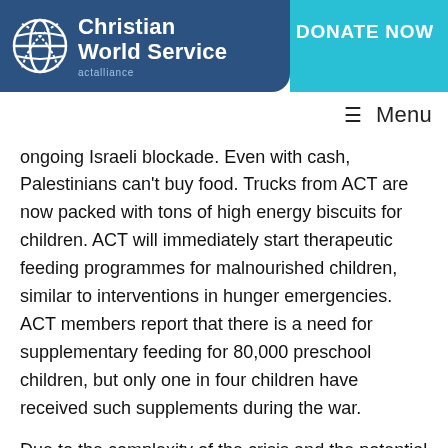[Figure (logo): Christian World Service logo with globe icon, white text on dark blue background, actalliance sub-label]
DONATE NOW
≡ Menu
ongoing Israeli blockade. Even with cash, Palestinians can't buy food. Trucks from ACT are now packed with tons of high energy biscuits for children. ACT will immediately start therapeutic feeding programmes for malnourished children, similar to interventions in hunger emergencies. ACT members report that there is a need for supplementary feeding for 80,000 preschool children, but only one in four children have received such supplements during the war.
Due to the complexity of the crisis and the potential for further violence, the distribution of food will be dangerous and complicated. ACT will operate together